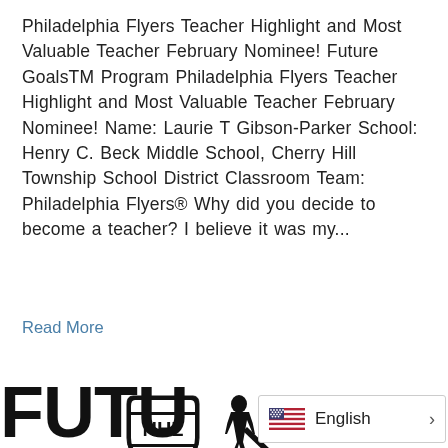Philadelphia Flyers Teacher Highlight and Most Valuable Teacher February Nominee! Future GoalsTM Program Philadelphia Flyers Teacher Highlight and Most Valuable Teacher February Nominee! Name: Laurie T Gibson-Parker School: Henry C. Beck Middle School, Cherry Hill Township School District Classroom Team: Philadelphia Flyers® Why did you decide to become a teacher? I believe it was my...
Read More
[Figure (logo): NHL and NHLPA logos side by side]
FUTU
English